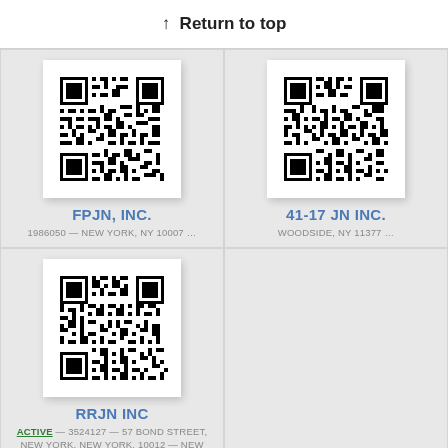↑ Return to top
[Figure (other): QR code for FPJN, INC.]
FPJN, INC.
1986050 — NEW YORK, NY 10007 …
[Figure (other): QR code for 41-17 JN INC.]
41-17 JN INC.
WOODSIDE, NY 11377 …
[Figure (other): QR code for RRJN INC]
RRJN INC
ACTIVE — 3524127 — 57 BOND STREET, NEW YORK, NEW YORK, 10012 — NEW YORK, NY 10038 …